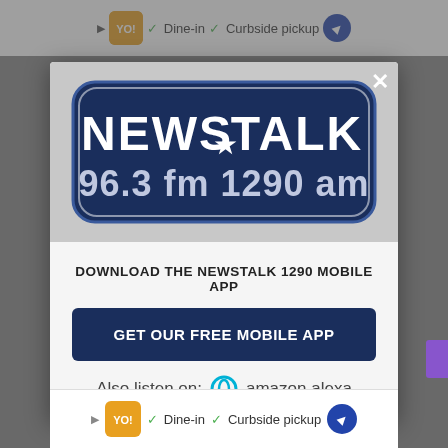[Figure (screenshot): Browser top bar with ad strip showing Dine-in and Curbside pickup text]
[Figure (logo): NewsTalk 96.3 FM 1290 AM radio station logo - dark blue rounded rectangle with white bold text NEWS TALK and 96.3 fm 1290 am]
DOWNLOAD THE NEWSTALK 1290 MOBILE APP
GET OUR FREE MOBILE APP
Also listen on:  amazon alexa
[Figure (screenshot): Bottom ad strip showing Dine-in and Curbside pickup options]